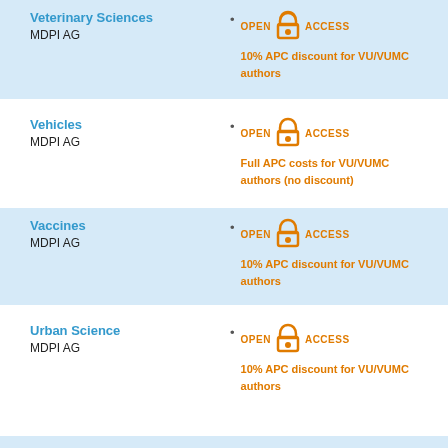Veterinary Sciences
MDPI AG
OPEN ACCESS
10% APC discount for VU/VUMC authors
Vehicles
MDPI AG
OPEN ACCESS
Full APC costs for VU/VUMC authors (no discount)
Vaccines
MDPI AG
OPEN ACCESS
10% APC discount for VU/VUMC authors
Urban Science
MDPI AG
OPEN ACCESS
10% APC discount for VU/VUMC authors